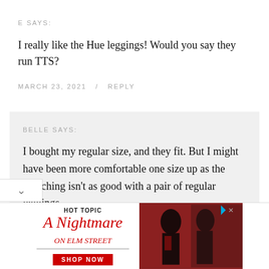E SAYS:
I really like the Hue leggings! Would you say they run TTS?
MARCH 23, 2021   /   REPLY
BELLE SAYS:
I bought my regular size, and they fit. But I might have been more comfortable one size up as the stretching isn't as good with a pair of regular leggings.
RCH 23, 2021   /   REPLY
[Figure (other): Hot Topic advertisement for A Nightmare on Elm Street merchandise with 'SHOP NOW' button and image of two people in gothic/horror fashion]